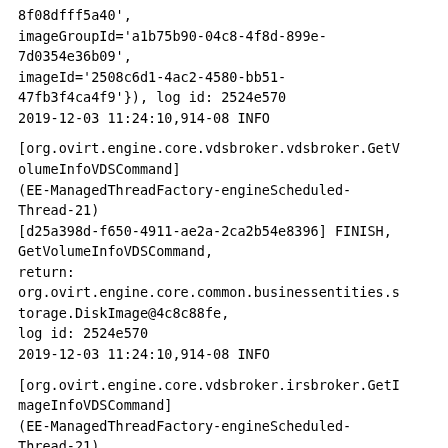8f08dfff5a40',
imageGroupId='a1b75b90-04c8-4f8d-899e-7d0354e36b09',
imageId='2508c6d1-4ac2-4580-bb51-47fb3f4ca4f9'}), log id: 2524e570
2019-12-03 11:24:10,914-08 INFO
[org.ovirt.engine.core.vdsbroker.vdsbroker.GetVolumeInfoVDSCommand]
(EE-ManagedThreadFactory-engineScheduled-Thread-21)
[d25a398d-f650-4911-ae2a-2ca2b54e8396] FINISH, GetVolumeInfoVDSCommand,
return:
org.ovirt.engine.core.common.businessentities.storage.DiskImage@4c8c88fe,
log id: 2524e570
2019-12-03 11:24:10,914-08 INFO
[org.ovirt.engine.core.vdsbroker.irsbroker.GetImageInfoVDSCommand]
(EE-ManagedThreadFactory-engineScheduled-Thread-21)